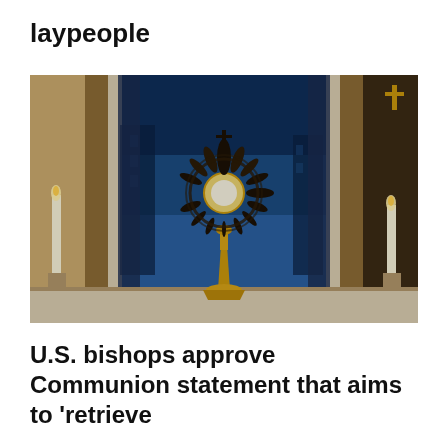laypeople
[Figure (photo): A golden monstrance with an ornate decorative sunburst top holding a circular host, mounted on a tall gold stem, viewed from below against a blue twilight sky visible through an open doorway or window. Candles are visible on either side in the dimly lit interior of a church.]
U.S. bishops approve Communion statement that aims to 'retrieve